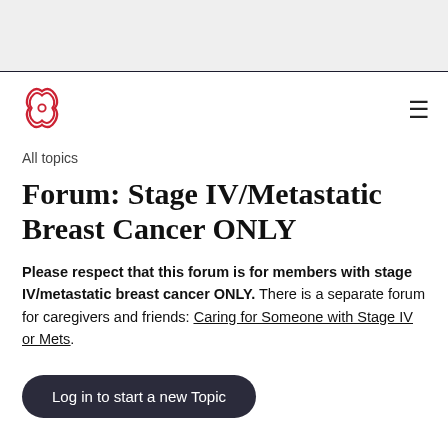[Figure (logo): Red floral/geometric logo mark for breastcancer.org or similar medical forum site]
All topics
Forum: Stage IV/Metastatic Breast Cancer ONLY
Please respect that this forum is for members with stage IV/metastatic breast cancer ONLY. There is a separate forum for caregivers and friends: Caring for Someone with Stage IV or Mets.
Log in to start a new Topic